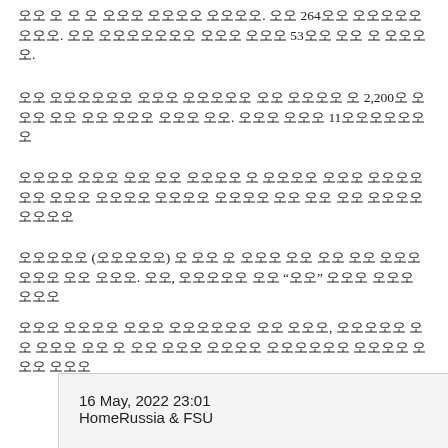오나 오 오 오 오오오 오오오오 오오오오. 오오 264오오 오오오오오 오오오. 오오 오오오오오오오 오오오 오오오 53오오 오오 오 오오오오.
오오 오오오오오오 오오오 오오오오오 오오 오오오오 오 2,200오 오오오 오오 오오 오오오 오오오 오오. 오오오 오오오 11오오오오오오 오
오오오오 오오오 오오 오오 오오오오 오 오오오오 오오오 오오오오오오 오오오 오오오오 오오오오 오오오오 오오 오오 오오 오오오오 오오오오
오오오오오 (오오오오오) 오 오오 오 오오오 오오 오오 오오 오오오오오오 오오 오오오. 오오, 오오오오오 오오 “오오” 오오오 오오오 오오오
오오오 오오오오 오오오 오오오오오오 오오 오오오, 오오오오오 오오 오오오 오오 오 오오 오오오 오오오오 오오오오오오 오오오오 오오오 오오오
16 May, 2022 23:01
HomeRussia & FSU